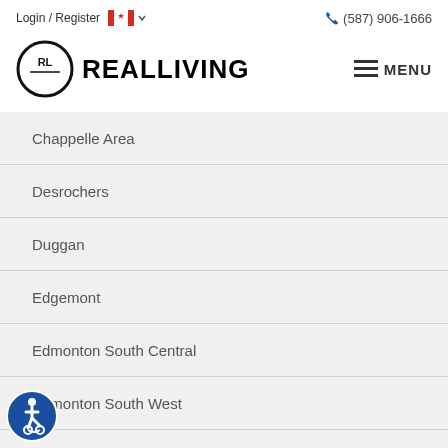Login / Register  (587) 906-1666
[Figure (logo): Real Living logo with RL in circle and REALLIVING text, plus MENU button]
Chappelle Area
Desrochers
Duggan
Edgemont
Edmonton South Central
Edmonton South West
Empire Park
Ermineskin